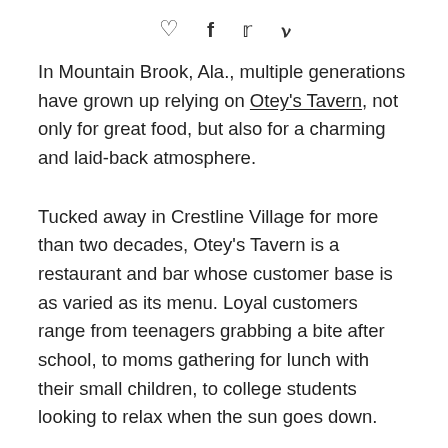♡  f  𝕏  𝗽
In Mountain Brook, Ala., multiple generations have grown up relying on Otey's Tavern, not only for great food, but also for a charming and laid-back atmosphere.
Tucked away in Crestline Village for more than two decades, Otey's Tavern is a restaurant and bar whose customer base is as varied as its menu. Loyal customers range from teenagers grabbing a bite after school, to moms gathering for lunch with their small children, to college students looking to relax when the sun goes down.
Otey's serves a variety of appetizing foods such as award winning wings, fried chicken salad, classic burgers and